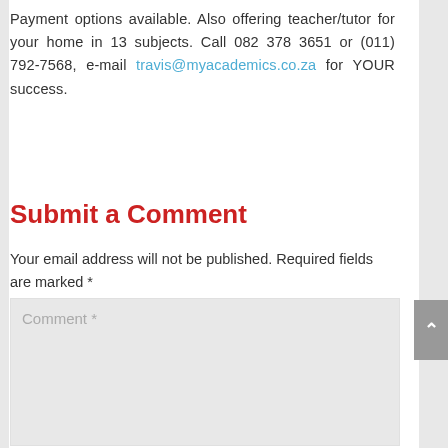Payment options available. Also offering teacher/tutor for your home in 13 subjects. Call 082 378 3651 or (011) 792-7568, e-mail travis@myacademics.co.za for YOUR success.
Submit a Comment
Your email address will not be published. Required fields are marked *
Comment *